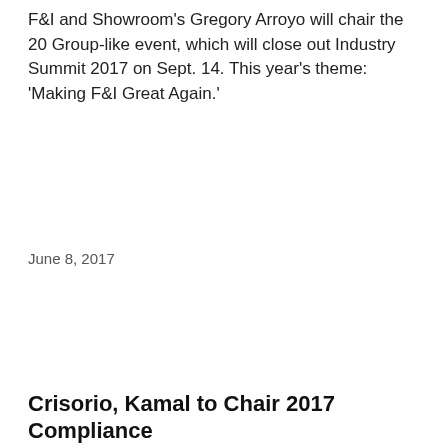F&I and Showroom's Gregory Arroyo will chair the 20 Group-like event, which will close out Industry Summit 2017 on Sept. 14. This year's theme: 'Making F&I Great Again.'
June 8, 2017
[Figure (screenshot): Modal popup advertisement for 'Easily Optimizing Your Dealership's Service Lanes' sponsored by Valvoline. Left side shows an image of two men in a service lane with overlay text reading 'EASILY OPTIMIZING YOUR DEALERSHIP'S SERVICE LANES'. Right side shows 'RECOMMENDED CONTENT' label, title 'Easily Optimizing Your Dealership's Service Lanes', description 'Learn how dealers can guarantee their service lanes are running at peak performance.', and a red 'READ NOW!' button. A close (X) button appears in the top-right corner.]
Crisorio, Kamal to Chair 2017 Compliance